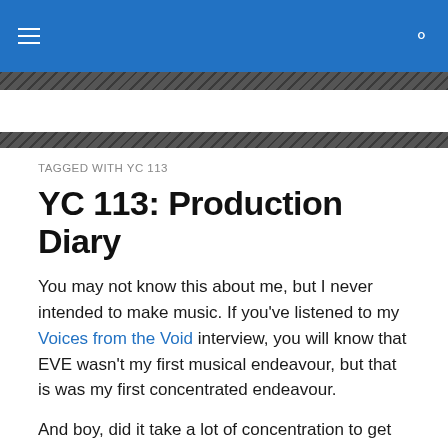Navigation bar with menu and search icons
TAGGED WITH YC 113
YC 113: Production Diary
You may not know this about me, but I never intended to make music. If you've listened to my Voices from the Void interview, you will know that EVE wasn't my first musical endeavour, but that is was my first concentrated endeavour.
And boy, did it take a lot of concentration to get this far. Of